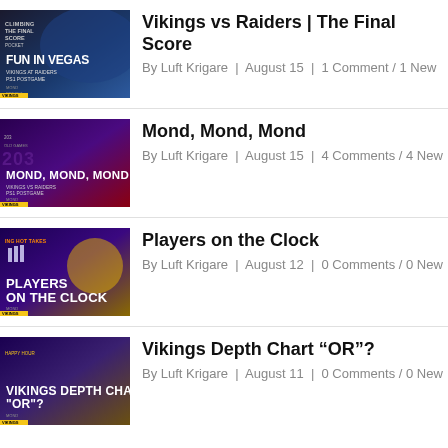Vikings vs Raiders | The Final Score
By Luft Krigare | August 15 | 1 Comment / 1 New
Mond, Mond, Mond
By Luft Krigare | August 15 | 4 Comments / 4 New
Players on the Clock
By Luft Krigare | August 12 | 0 Comments / 0 New
Vikings Depth Chart “OR”?
By Luft Krigare | August 11 | 0 Comments / 0 New